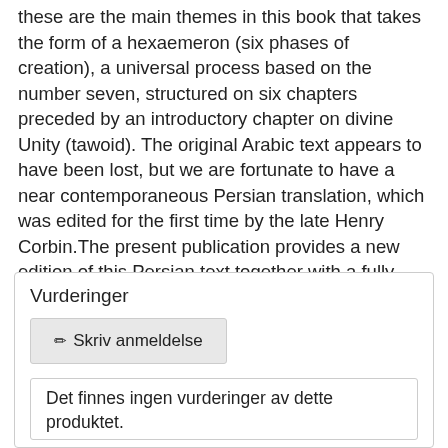these are the main themes in this book that takes the form of a hexaemeron (six phases of creation), a universal process based on the number seven, structured on six chapters preceded by an introductory chapter on divine Unity (tawoid). The original Arabic text appears to have been lost, but we are fortunate to have a near contemporaneous Persian translation, which was edited for the first time by the late Henry Corbin.The present publication provides a new edition of this Persian text together with a fully annotated English translation and an introduction.
Vurderinger
✏ Skriv anmeldelse
Det finnes ingen vurderinger av dette produktet.